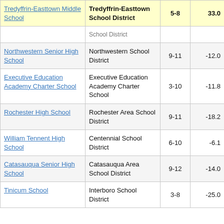| School | District | Grades | Score |
| --- | --- | --- | --- |
| Tredyffrin-Easttown Middle School | Tredyffrin-Easttown School District | 5-8 | 33.0 |
|  | School District |  |  |
| Northwestern Senior High School | Northwestern School District | 9-11 | -12.0 |
| Executive Education Academy Charter School | Executive Education Academy Charter School | 3-10 | -11.8 |
| Rochester High School | Rochester Area School District | 9-11 | -18.2 |
| William Tennent High School | Centennial School District | 6-10 | -6.1 |
| Catasauqua Senior High School | Catasauqua Area School District | 9-12 | -14.0 |
| Tinicum School | Interboro School District | 3-8 | -25.0 |